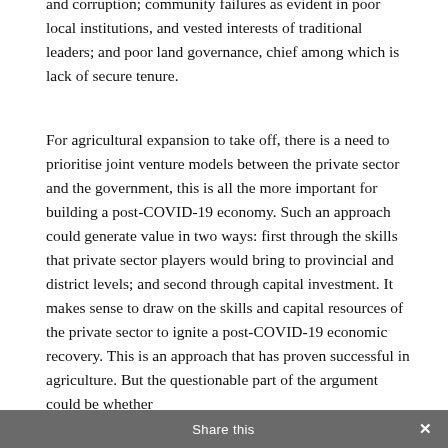and corruption; community failures as evident in poor local institutions, and vested interests of traditional leaders; and poor land governance, chief among which is lack of secure tenure.
For agricultural expansion to take off, there is a need to prioritise joint venture models between the private sector and the government, this is all the more important for building a post-COVID-19 economy. Such an approach could generate value in two ways: first through the skills that private sector players would bring to provincial and district levels; and second through capital investment. It makes sense to draw on the skills and capital resources of the private sector to ignite a post-COVID-19 economic recovery. This is an approach that has proven successful in agriculture. But the questionable part of the argument could be whether
Share this ✕